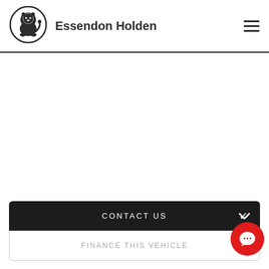Essendon Holden
[Figure (logo): Holden lion logo in a circle]
CONTACT US
FINANCE THIS VEHICLE